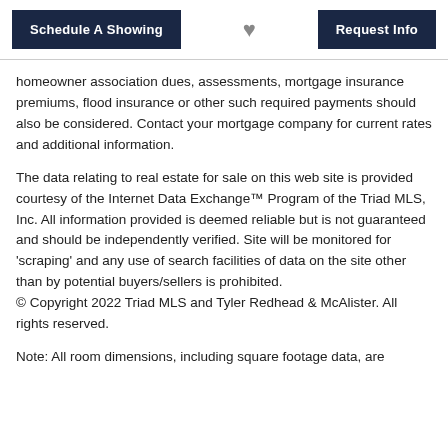Schedule A Showing | ♥ | Request Info
homeowner association dues, assessments, mortgage insurance premiums, flood insurance or other such required payments should also be considered. Contact your mortgage company for current rates and additional information.
The data relating to real estate for sale on this web site is provided courtesy of the Internet Data Exchange™ Program of the Triad MLS, Inc. All information provided is deemed reliable but is not guaranteed and should be independently verified. Site will be monitored for 'scraping' and any use of search facilities of data on the site other than by potential buyers/sellers is prohibited.
© Copyright 2022 Triad MLS and Tyler Redhead & McAlister. All rights reserved.
Note: All room dimensions, including square footage data, are